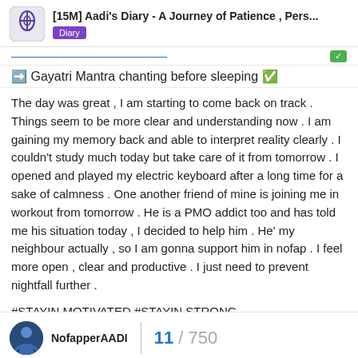[15M] Aadi's Diary - A Journey of Patience , Pers... | Diary
➡️ Gayatri Mantra chanting before sleeping ✅
The day was great , I am starting to come back on track . Things seem to be more clear and understanding now . I am gaining my memory back and able to interpret reality clearly . I couldn't study much today but take care of it from tomorrow . I opened and played my electric keyboard after a long time for a sake of calmness . One another friend of mine is joining me in workout from tomorrow . He is a PMO addict too and has told me his situation today , I decided to help him . He' my neighbour actually , so I am gonna support him in nofap . I feel more open , clear and productive . I just need to prevent nightfall further .
#STAYIN MOTIVATED #STAYIN STRONG
NofapperAADI | 11 / 750